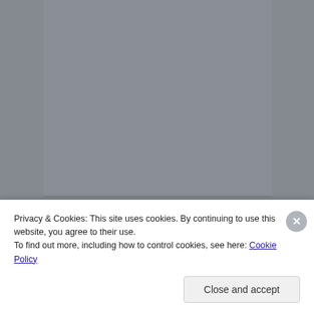FOLLOW ME ON TWITTER
My Tweets
VIDEOS TO WATCH
https://www.youtube.com/playlist?list=PLKfy-
Privacy & Cookies: This site uses cookies. By continuing to use this website, you agree to their use.
To find out more, including how to control cookies, see here: Cookie Policy
Close and accept